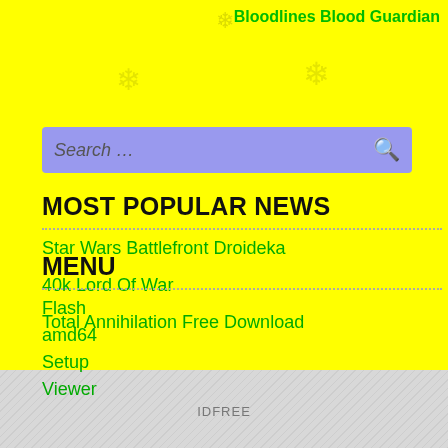Bloodlines Blood Guardian
[Figure (other): Decorative snowflake icons on yellow background]
Search …
MOST POPULAR NEWS
Star Wars Battlefront Droideka
40k Lord Of War
Total Annihilation Free Download
MENU
Flash
amd64
Setup
Viewer
IDFREE